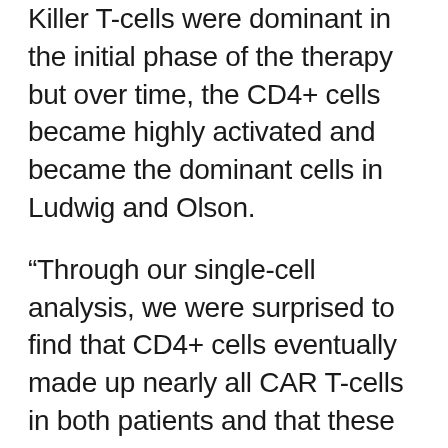Killer T-cells were dominant in the initial phase of the therapy but over time, the CD4+ cells became highly activated and became the dominant cells in Ludwig and Olson.
“Through our single-cell analysis, we were surprised to find that CD4+ cells eventually made up nearly all CAR T-cells in both patients and that these cells continued to show cancer-killing characteristics a decade after treatment,” said Dr. Kai Tan, the study’s co-senior author. Dr. Tan is also a professor in the Department of Pediatrics at the University of the